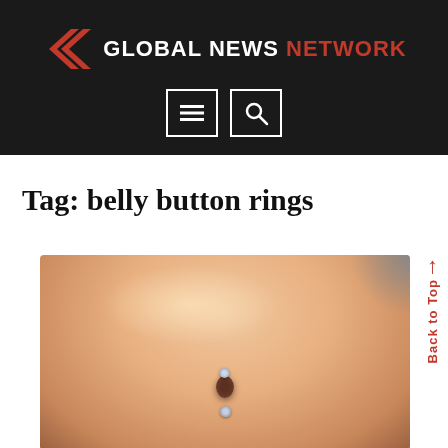Global News Network
Tag: belly button rings
[Figure (photo): Close-up photograph of a person's belly button area with a belly button ring piercing, with a red 'Back to Top' arrow label on the right side.]